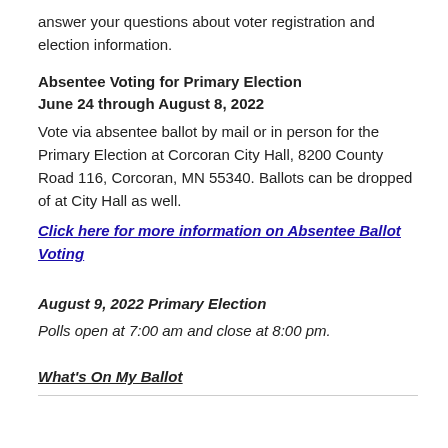answer your questions about voter registration and election information.
Absentee Voting for Primary Election
June 24 through August 8, 2022
Vote via absentee ballot by mail or in person for the Primary Election at Corcoran City Hall, 8200 County Road 116, Corcoran, MN 55340. Ballots can be dropped of at City Hall as well.
Click here for more information on Absentee Ballot Voting
August 9, 2022 Primary Election
Polls open at 7:00 am and close at 8:00 pm.
What's On My Ballot